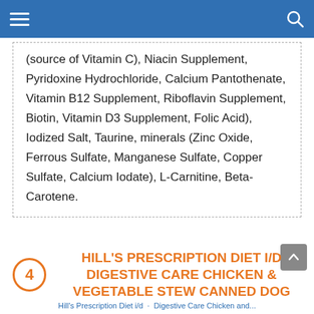Navigation header with hamburger menu and search icon
(source of Vitamin C), Niacin Supplement, Pyridoxine Hydrochloride, Calcium Pantothenate, Vitamin B12 Supplement, Riboflavin Supplement, Biotin, Vitamin D3 Supplement, Folic Acid), Iodized Salt, Taurine, minerals (Zinc Oxide, Ferrous Sulfate, Manganese Sulfate, Copper Sulfate, Calcium Iodate), L-Carnitine, Beta-Carotene.
HILL'S PRESCRIPTION DIET I/D DIGESTIVE CARE CHICKEN & VEGETABLE STEW CANNED DOG FOOD
Hill's Prescription Diet i/d Digestive Care Chicken and...